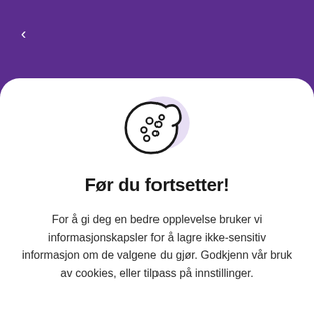[Figure (illustration): Cookie icon with a bite taken out, showing chocolate chip dots, with a light purple circular background behind it]
Før du fortsetter!
For å gi deg en bedre opplevelse bruker vi informasjonskapsler for å lagre ikke-sensitiv informasjon om de valgene du gjør. Godkjenn vår bruk av cookies, eller tilpass på innstillinger.